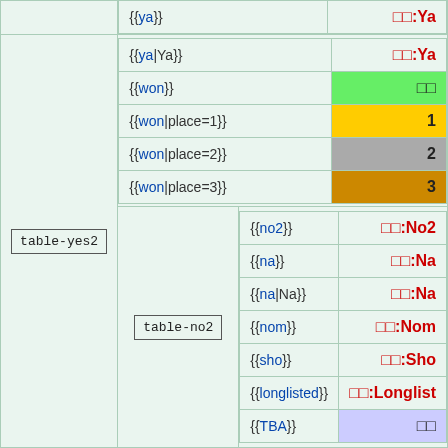| Label | Template | Result |
| --- | --- | --- |
|  | {{ya}} | □□:Ya |
| table-yes2 | {{ya|Ya}} | □□:Ya |
|  | {{won}} | □□ |
|  | {{won|place=1}} | 1 |
|  | {{won|place=2}} | 2 |
|  | {{won|place=3}} | 3 |
|  | {{no2}} | □□:No2 |
|  | {{na}} | □□:Na |
|  | {{na|Na}} | □□:Na |
| table-no2 | {{nom}} | □□:Nom |
|  | {{sho}} | □□:Sho |
|  | {{longlisted}} | □□:Longlist |
|  | {{TBA}} | □□ |